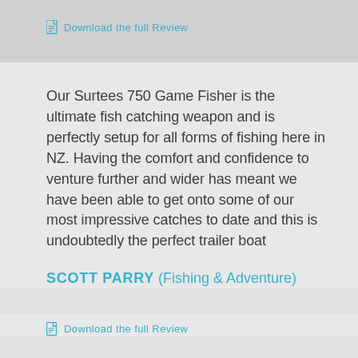Download the full Review
Our Surtees 750 Game Fisher is the ultimate fish catching weapon and is perfectly setup for all forms of fishing here in NZ. Having the comfort and confidence to venture further and wider has meant we have been able to get onto some of our most impressive catches to date and this is undoubtedly the perfect trailer boat
SCOTT PARRY (Fishing & Adventure)
Download the full Review